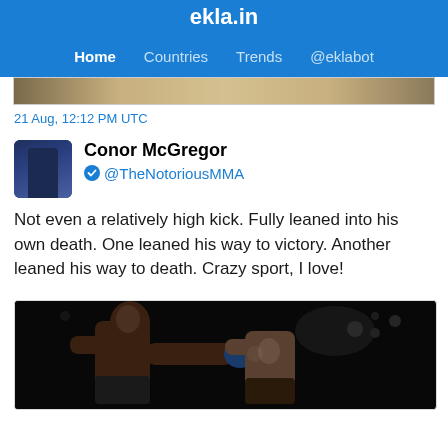ekla.in
Home  Countries  Trends  @eklabot
[Figure (photo): Partial cropped image at top of page, brownish/tan tones]
21 Aug, 12:12 PM UTC
[Figure (photo): Avatar of Conor McGregor in a blue suit]
Conor McGregor
@TheNotoriousMMA
Not even a relatively high kick. Fully leaned into his own death. One leaned his way to victory. Another leaned his way to death. Crazy sport, I love!
[Figure (photo): MMA fight photo showing two fighters, one punching the other in a dark arena]